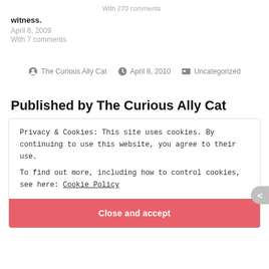With 270 comments
witness.
April 6, 2009
With 7 comments
The Curious Ally Cat  April 8, 2010  Uncategorized
Published by The Curious Ally Cat
Privacy & Cookies: This site uses cookies. By continuing to use this website, you agree to their use.
To find out more, including how to control cookies, see here: Cookie Policy
Close and accept